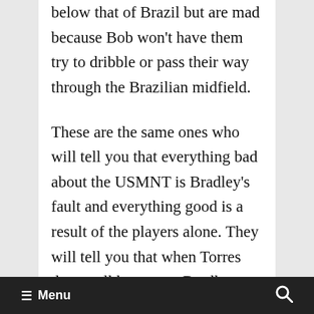below that of Brazil but are mad because Bob won't have them try to dribble or pass their way through the Brazilian midfield.
These are the same ones who will tell you that everything bad about the USMNT is Bradley's fault and everything good is a result of the players alone. They will tell you that when Torres does well he proves Bradley wrong but when Torres does poorly it's because Bob plays him out of position or doesn't play him enough and
≡ Menu 🔍